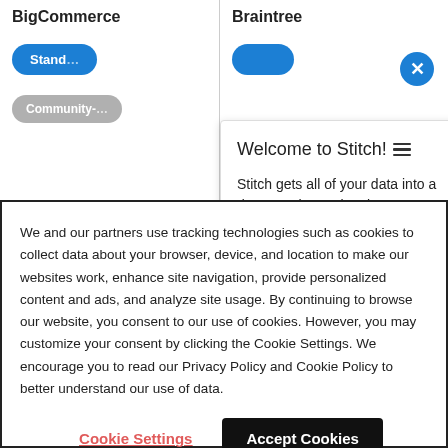BigCommerce
Braintree
Standard
Community-
Welcome to Stitch! ☰

Stitch gets all of your data into a data warehouse in minutes. Ready to get started?
We and our partners use tracking technologies such as cookies to collect data about your browser, device, and location to make our websites work, enhance site navigation, provide personalized content and ads, and analyze site usage. By continuing to browse our website, you consent to our use of cookies. However, you may customize your consent by clicking the Cookie Settings. We encourage you to read our Privacy Policy and Cookie Policy to better understand our use of data.
Cookie Settings
Accept Cookies